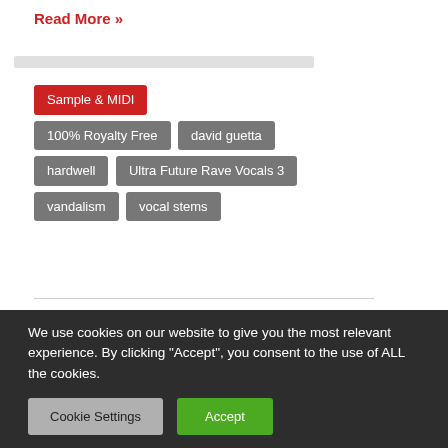Read More »
Sample & MIDI
100% Royalty Free
david guetta
hardwell
Ultra Future Rave Vocals 3
vandalism
vocal stems
2DEEP Demons
We use cookies on our website to give you the most relevant experience. By clicking "Accept", you consent to the use of ALL the cookies.